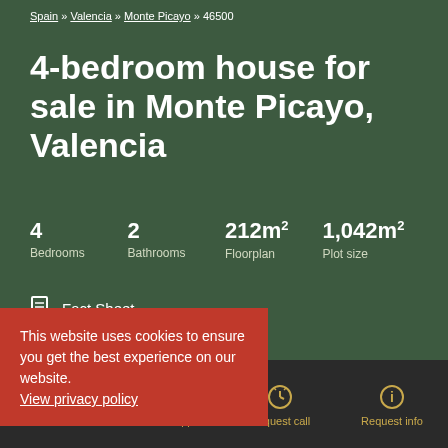Spain » Valencia » Monte Picayo » 46500
4-bedroom house for sale in Monte Picayo, Valencia
4 Bedrooms  2 Bathrooms  212m² Floorplan  1,042m² Plot size
Fact Sheet
This website uses cookies to ensure you get the best experience on our website. View privacy policy
Call us  WhatsApp  Request call  Request info